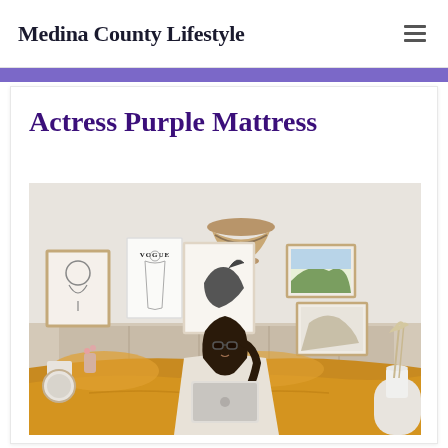Medina County Lifestyle
Actress Purple Mattress
[Figure (photo): A young woman with long dark hair and glasses sits on a bed with golden/mustard yellow bedding, working on a laptop. Behind her is a gallery wall with framed art including a Vogue poster and a sketch of a woman's face, plus a decorative hat on the wall. Room has a cozy, styled bedroom aesthetic.]